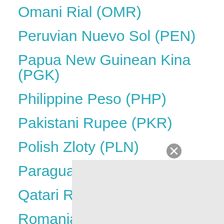Omani Rial (OMR)
Peruvian Nuevo Sol (PEN)
Papua New Guinean Kina (PGK)
Philippine Peso (PHP)
Pakistani Rupee (PKR)
Polish Zloty (PLN)
Paraguayan Guarani (PYG)
Qatari Rial (QAR)
Romanian Leu (RON)
Serbian Dinar (RSD)
Russian Ruble (RUB)
Saudi